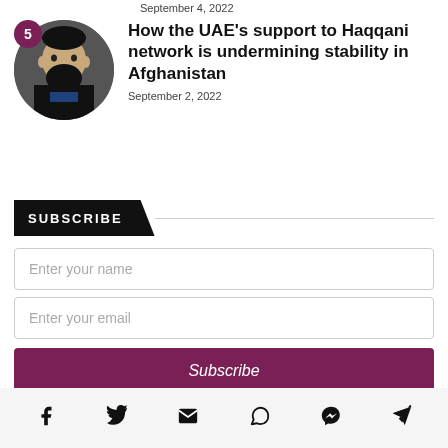September 4, 2022
[Figure (photo): Circular portrait photo of a bearded man with number 5 badge]
How the UAE's support to Haqqani network is undermining stability in Afghanistan
September 2, 2022
SUBSCRIBE
Enter your name
Enter your email
Subscribe
[Figure (infographic): Social media share icons: Facebook, Twitter, Email, WhatsApp, Messenger, Telegram]